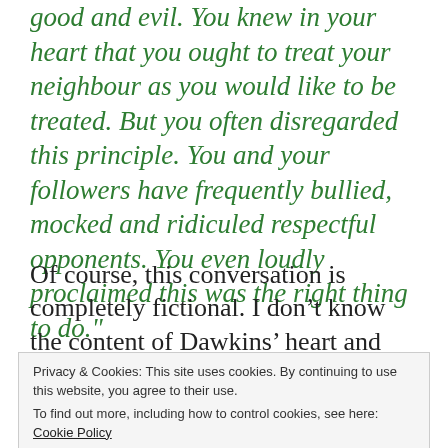good and evil. You knew in your heart that you ought to treat your neighbour as you would like to be treated. But you often disregarded this principle. You and your followers have frequently bullied, mocked and ridiculed respectful opponents. You even loudly proclaimed this was the right thing to do."
Of course, this conversation is completely fictional. I don't know the content of Dawkins' heart and cannot rule out the possibility he will
Privacy & Cookies: This site uses cookies. By continuing to use this website, you agree to their use.
To find out more, including how to control cookies, see here: Cookie Policy
Close and accept
intellectually stimulating.